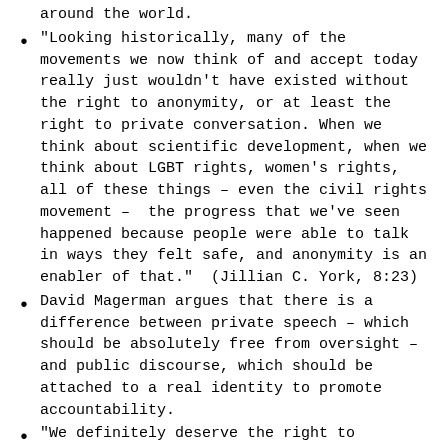around the world.
“Looking historically, many of the movements we now think of and accept today really just wouldn’t have existed without the right to anonymity, or at least the right to private conversation. When we think about scientific development, when we think about LGBT rights, women’s rights, all of these things – even the civil rights movement –  the progress that we’ve seen happened because people were able to talk in ways they felt safe, and anonymity is an enabler of that.”  (Jillian C. York, 8:23)
David Magerman argues that there is a difference between private speech – which should be absolutely free from oversight – and public discourse, which should be attached to a real identity to promote accountability.
“We definitely deserve the right to anonymous